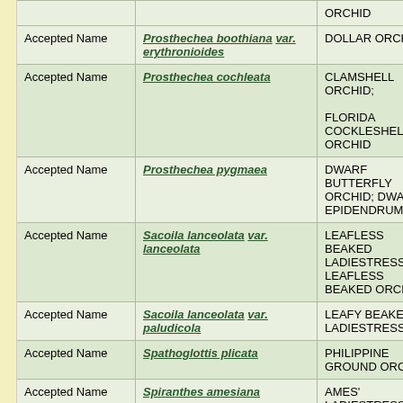| Type | Scientific Name | Common Name | Link |
| --- | --- | --- | --- |
|  |  | ORCHID | O |
| Accepted Name | Prosthechea boothiana var. erythronioides | DOLLAR ORCHID | O |
| Accepted Name | Prosthechea cochleata | CLAMSHELL ORCHID; FLORIDA COCKLESHELL ORCHID | O |
| Accepted Name | Prosthechea pygmaea | DWARF BUTTERFLY ORCHID; DWARF EPIDENDRUM | O |
| Accepted Name | Sacoila lanceolata var. lanceolata | LEAFLESS BEAKED LADIESTRESSES; LEAFLESS BEAKED ORCHID | O |
| Accepted Name | Sacoila lanceolata var. paludicola | LEAFY BEAKED LADIESTRESSES | O |
| Accepted Name | Spathoglottis plicata | PHILIPPINE GROUND ORCHID | O |
| Accepted Name | Spiranthes amesiana | AMES' LADIESTRESSES | O |